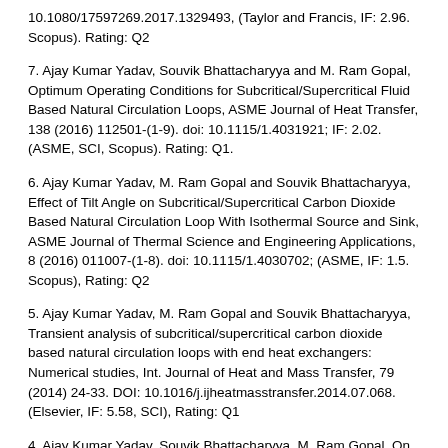10.1080/17597269.2017.1329493, (Taylor and Francis, IF: 2.96. Scopus). Rating: Q2
7. Ajay Kumar Yadav, Souvik Bhattacharyya and M. Ram Gopal, Optimum Operating Conditions for Subcritical/Supercritical Fluid Based Natural Circulation Loops, ASME Journal of Heat Transfer, 138 (2016) 112501-(1-9). doi: 10.1115/1.4031921; IF: 2.02. (ASME, SCI, Scopus). Rating: Q1.
6. Ajay Kumar Yadav, M. Ram Gopal and Souvik Bhattacharyya, Effect of Tilt Angle on Subcritical/Supercritical Carbon Dioxide Based Natural Circulation Loop With Isothermal Source and Sink, ASME Journal of Thermal Science and Engineering Applications, 8 (2016) 011007-(1-8). doi: 10.1115/1.4030702; (ASME, IF: 1.5. Scopus), Rating: Q2
5. Ajay Kumar Yadav, M. Ram Gopal and Souvik Bhattacharyya, Transient analysis of subcritical/supercritical carbon dioxide based natural circulation loops with end heat exchangers: Numerical studies, Int. Journal of Heat and Mass Transfer, 79 (2014) 24-33. DOI: 10.1016/j.ijheatmasstransfer.2014.07.068. (Elsevier, IF: 5.58, SCI), Rating: Q1
4. Ajay Kumar Yadav, Souvik Bhattacharyya, M. Ram Gopal, On the suitability of carbon dioxide in forced circulation type secondary loops,